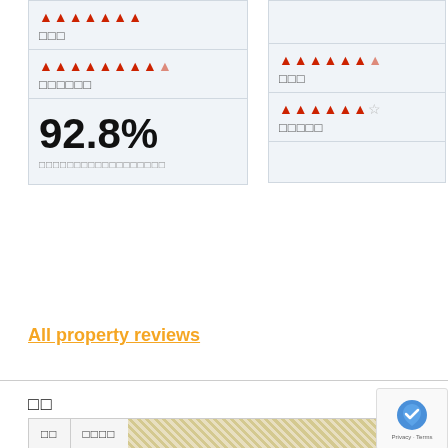[Figure (screenshot): Star rating row with 5 red filled stars]
□□□
[Figure (screenshot): Star rating row with 4 red filled stars and 1 grey outline star]
□□□□□□
92.8%
□□□□□□□□□□□□□□□□□□
[Figure (screenshot): Star rating row with 4.5 red filled stars]
□□□
[Figure (screenshot): Star rating row with 4 red filled stars and 1 empty star]
□□□□□
All property reviews
□□
[Figure (map): Map view with tabs for address and location name]
[Figure (screenshot): reCAPTCHA Privacy Terms badge]